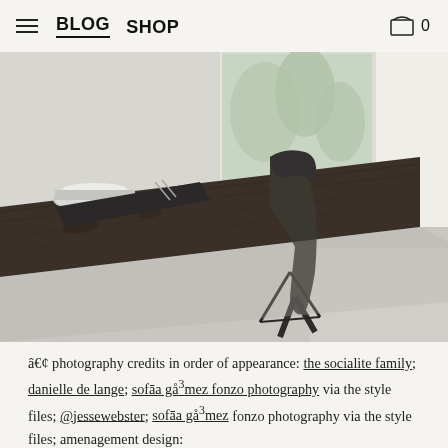BLOG  SHOP  0
[Figure (photo): Interior photo of a minimalist dining room with a dark rustic wooden table, a dark modern chair, stacked plates, and a bright window showing trees outside. White walls and concrete floor visible.]
• photography credits in order of appearance: the socialite family; danielle de lange; sofāa gå³mez fonzo photography via the style files; @jessewebster; sofāa gå³mez fonzo photography via the style files; amenagement design;